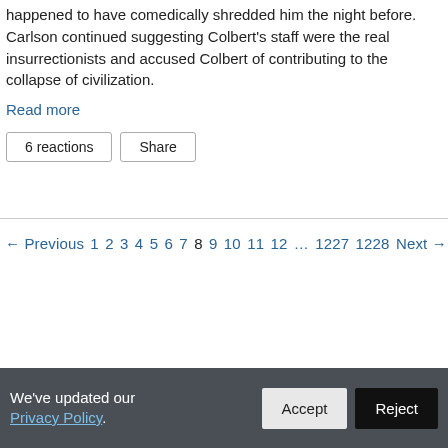happened to have comedically shredded him the night before. Carlson continued suggesting Colbert's staff were the real insurrectionists and accused Colbert of contributing to the collapse of civilization.
Read more
6 reactions   Share
← Previous 1 2 3 4 5 6 7 8 9 10 11 12 … 1227 1228 Next →
We've updated our Privacy Policy.   Accept   Reject